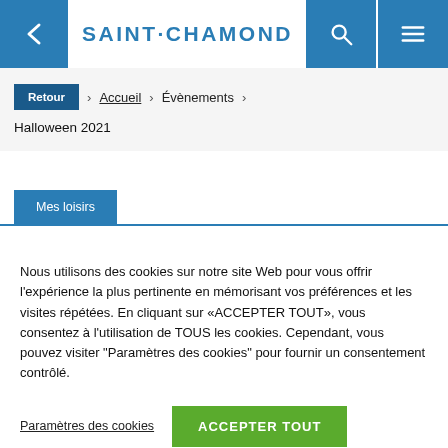SAINT·CHAMOND
Retour › Accueil › Évènements › Halloween 2021
Mes loisirs
Nous utilisons des cookies sur notre site Web pour vous offrir l'expérience la plus pertinente en mémorisant vos préférences et les visites répétées. En cliquant sur «ACCEPTER TOUT», vous consentez à l'utilisation de TOUS les cookies. Cependant, vous pouvez visiter "Paramètres des cookies" pour fournir un consentement contrôlé.
Paramètres des cookies | ACCEPTER TOUT